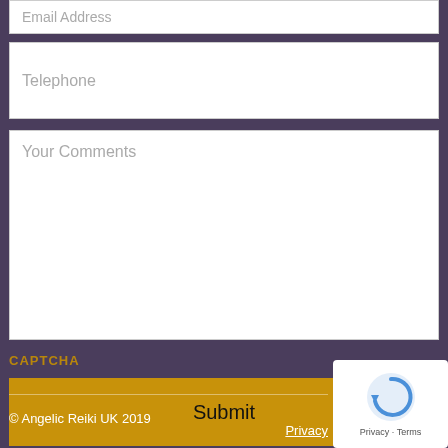Email Address
Telephone
Your Comments
CAPTCHA
Submit
© Angelic Reiki UK 2019
Privacy
[Figure (other): reCAPTCHA widget showing circular arrow icon with Privacy - Terms text]